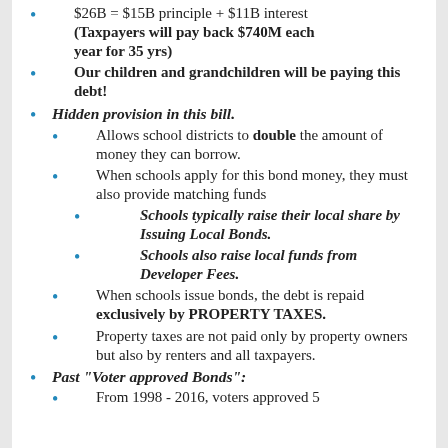$26B = $15B principle + $11B interest (Taxpayers will pay back $740M each year for 35 yrs)
Our children and grandchildren will be paying this debt!
Hidden provision in this bill.
Allows school districts to double the amount of money they can borrow.
When schools apply for this bond money, they must also provide matching funds
Schools typically raise their local share by Issuing Local Bonds.
Schools also raise local funds from Developer Fees.
When schools issue bonds, the debt is repaid exclusively by PROPERTY TAXES.
Property taxes are not paid only by property owners but also by renters and all taxpayers.
Past "Voter approved Bonds":
From 1998 - 2016, voters approved 5